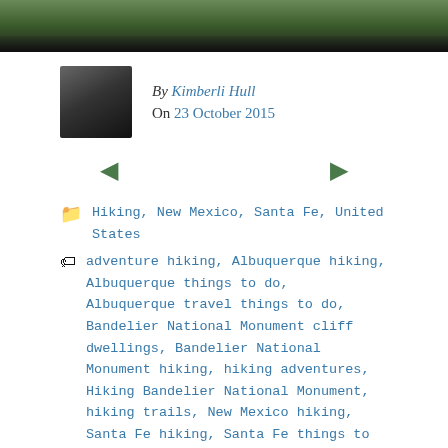[Figure (photo): Top portion of an outdoor/nature photo, dark green tones suggesting forest or hiking scene]
By Kimberli Hull
On 23 October 2015
[Figure (illustration): Left and right navigation arrows in dark green]
Hiking, New Mexico, Santa Fe, United States
adventure hiking, Albuquerque hiking, Albuquerque things to do, Albuquerque travel things to do, Bandelier National Monument cliff dwellings, Bandelier National Monument hiking, hiking adventures, Hiking Bandelier National Monument, hiking trails, New Mexico hiking, Santa Fe hiking, Santa Fe things to do
Press and guest articles
[Figure (screenshot): Screenshot of SouthCoast TODAY | The Standard-Times website showing a navigation bar and article preview with headline 'New Bedford HS Class of 1890' under HISTORY section]